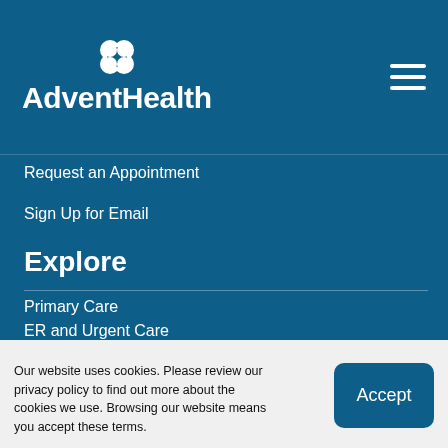[Figure (logo): AdventHealth logo with white four-petal flower icon above white text 'AdventHealth']
Request an Appointment
Sign Up for Email
Explore
Primary Care
ER and Urgent Care
OBGYN
Imaging
Our website uses cookies. Please review our privacy policy to find out more about the cookies we use. Browsing our website means you accept these terms.